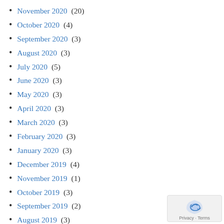November 2020 (20)
October 2020 (4)
September 2020 (3)
August 2020 (3)
July 2020 (5)
June 2020 (3)
May 2020 (3)
April 2020 (3)
March 2020 (3)
February 2020 (3)
January 2020 (3)
December 2019 (4)
November 2019 (1)
October 2019 (3)
September 2019 (2)
August 2019 (3)